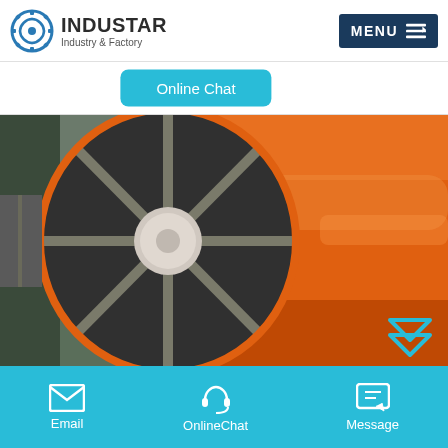[Figure (logo): Industar logo with gear/recycling icon and text 'INDUSTAR Industry & Factory']
[Figure (other): Dark navy blue MENU button with horizontal lines icon]
[Figure (other): Teal/cyan rounded rectangle button labeled 'Online Chat']
[Figure (photo): Industrial orange cylindrical drum/rotary kiln equipment in a factory, showing the circular end face with spoke structure and the long cylindrical body extending to the right]
[Figure (other): Cyan double up-arrow chevron icon in bottom right of photo]
[Figure (other): Teal footer bar with Email, OnlineChat, and Message icons and labels]